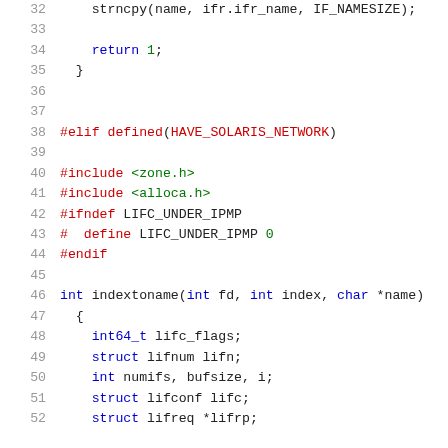[Figure (screenshot): Source code snippet in C with syntax highlighting, showing lines 32-52 of a network interface utility file. Lines include strncpy call, return statement, preprocessor directives for HAVE_SOLARIS_NETWORK, includes for zone.h and alloca.h, LIFC_UNDER_IPMP macro, and beginning of indextoname function with local variable declarations.]